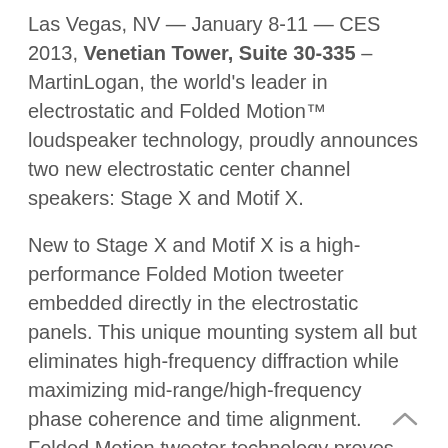Las Vegas, NV — January 8-11 — CES 2013, Venetian Tower, Suite 30-335 – MartinLogan, the world's leader in electrostatic and Folded Motion™ loudspeaker technology, proudly announces two new electrostatic center channel speakers: Stage X and Motif X.
New to Stage X and Motif X is a high-performance Folded Motion tweeter embedded directly in the electrostatic panels. This unique mounting system all but eliminates high-frequency diffraction while maximizing mid-range/high-frequency phase coherence and time alignment. Folded Motion tweeter technology proves an ideal match for the electrostatic transducers, providing lightning fast transient response combined with a large surface